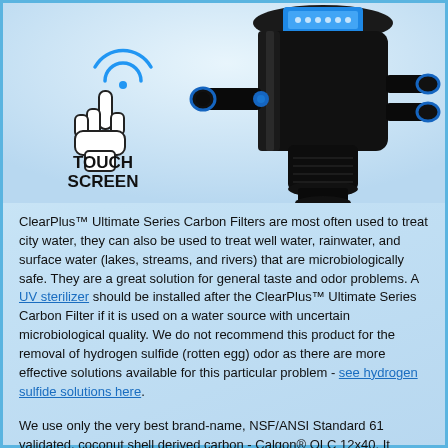[Figure (photo): ClearPlus Ultimate Series Carbon Filter water treatment device with black housing, blue fittings, and a touch screen display. A touch screen label with hand/finger icon is shown to the left of the product.]
ClearPlus™ Ultimate Series Carbon Filters are most often used to treat city water, they can also be used to treat well water, rainwater, and surface water (lakes, streams, and rivers) that are microbiologically safe. They are a great solution for general taste and odor problems. A UV sterilizer should be installed after the ClearPlus™ Ultimate Series Carbon Filter if it is used on a water source with uncertain microbiological quality. We do not recommend this product for the removal of hydrogen sulfide (rotten egg) odor as there are more effective solutions available for this particular problem - see hydrogen sulfide solutions here.
We use only the very best brand-name, NSF/ANSI Standard 61 validated, coconut shell derived carbon - Calgon® OLC 12x40. It